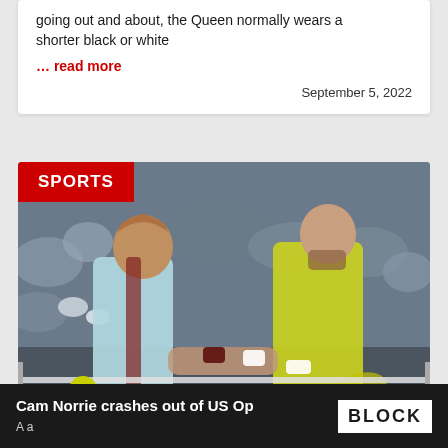going out and about, the Queen normally wears a shorter black or white
… read more
September 5, 2022
[Figure (photo): Two tennis players shaking hands at the net after a match. One player wears a light blue shirt, the other wears a yellow shirt. A crowd is visible in the background. A red SPORTS badge is overlaid at the top left.]
Cam Norrie crashes out of US Op
BLOCK